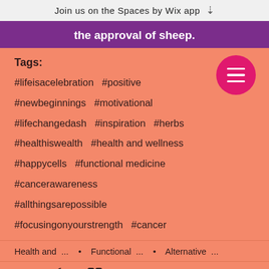Join us on the Spaces by Wix app
the approval of sheep.
Tags:
#lifeisacelebration #positive
#newbeginnings #motivational
#lifechangedash #inspiration #herbs
#healthiswealth #health and wellness
#happycells #functional medicine
#cancerawareness
#allthingsarepossible
#focusingonyourstrength #cancer
Health and ... · Functional ... · Alternative ...
[Figure (infographic): Social share icons: Facebook, Twitter, LinkedIn, link]